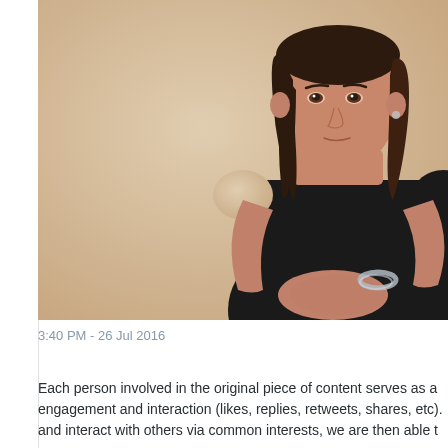[Figure (photo): Professional photo of a woman with dark hair wearing a black sleeveless dress, standing against a beige/tan background, holding her hands together in front of her. She has a silver cuff bracelet.]
3:40 PM - 26 Jul 2016
Each person involved in the original piece of content serves as a engagement and interaction (likes, replies, retweets, shares, etc). and interact with others via common interests, we are then able t